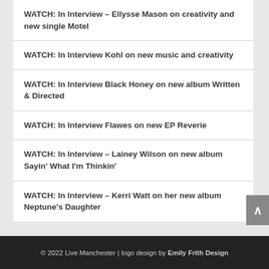WATCH: In Interview – Ellysse Mason on creativity and new single Motel
WATCH: In Interview Kohl on new music and creativity
WATCH: In Interview Black Honey on new album Written & Directed
WATCH: In Interview Flawes on new EP Reverie
WATCH: In Interview – Lainey Wilson on new album Sayin' What I'm Thinkin'
WATCH: In Interview – Kerri Watt on her new album Neptune's Daughter
© 2022 Live Manchester | logo design by Emily Frith Design